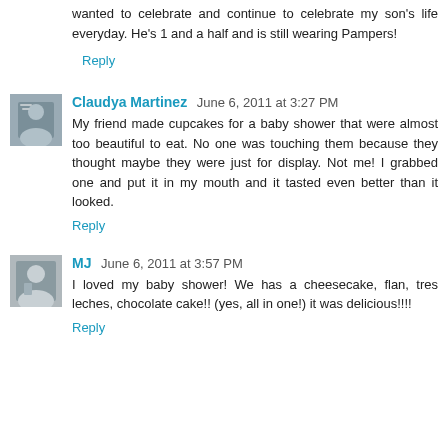wanted to celebrate and continue to celebrate my son's life everyday. He's 1 and a half and is still wearing Pampers!
Reply
Claudya Martinez  June 6, 2011 at 3:27 PM
My friend made cupcakes for a baby shower that were almost too beautiful to eat. No one was touching them because they thought maybe they were just for display. Not me! I grabbed one and put it in my mouth and it tasted even better than it looked.
Reply
MJ  June 6, 2011 at 3:57 PM
I loved my baby shower! We has a cheesecake, flan, tres leches, chocolate cake!! (yes, all in one!) it was delicious!!!!
Reply